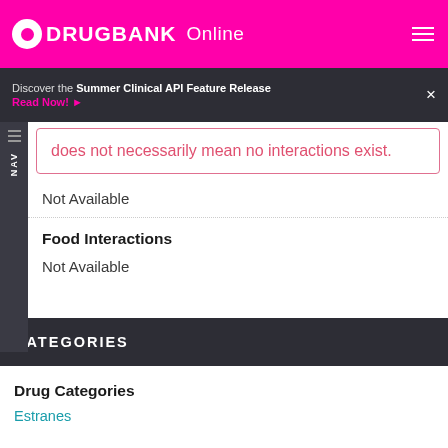DRUGBANK Online
Discover the Summer Clinical API Feature Release
Read Now!
does not necessarily mean no interactions exist.
Not Available
Food Interactions
Not Available
CATEGORIES
Drug Categories
Estranes